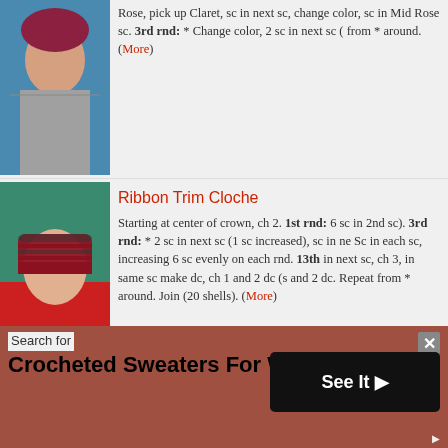[Figure (photo): Woman wearing a crocheted hat with striped pattern in rose/claret colors, side profile, blue background]
Rose, pick up Claret, sc in next sc, change color, sc in Mid Rose sc. 3rd rnd: * Change color, 2 sc in next sc ( from * around. (More)
[Figure (photo): Woman wearing a red and black ribbon trim cloche hat, red sweater, side profile on teal background]
Ribbon Trim Cloche
Starting at center of crown, ch 2. 1st rnd: 6 sc in 2nd sc). 3rd rnd: * 2 sc in next sc (1 sc increased), sc in ne Sc in each sc, increasing 6 sc evenly on each rnd. 13th in next sc, ch 3, in same sc make dc, ch 1 and 2 dc (s and 2 dc. Repeat from * around. Join (20 shells). (More)
[Figure (photo): Woman wearing a blue crocheted jacket with white trim detail at center front]
Crocheted Jacket
BACK ... Starting at lower edge with Blue Sparkle, ma Sc in 3rd ch from hook, * ch 1, skip 1 ch, sc in next ch. R
Search for
Crocheted Sweaters For Women